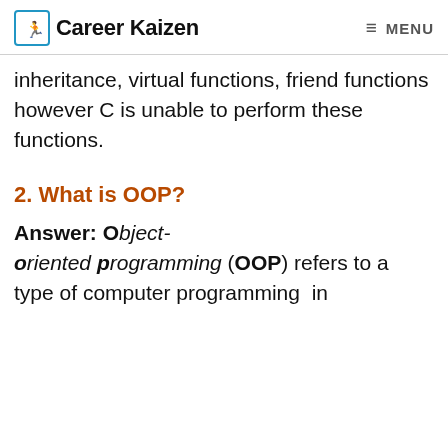Career Kaizen | MENU
inheritance, virtual functions, friend functions however C is unable to perform these functions.
2. What is OOP?
Answer: Object-oriented programming (OOP) refers to a type of computer programming in